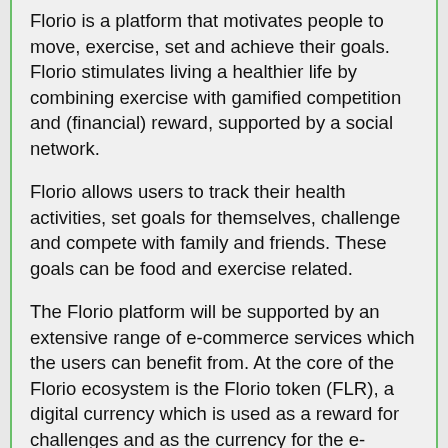Florio is a platform that motivates people to move, exercise, set and achieve their goals. Florio stimulates living a healthier life by combining exercise with gamified competition and (financial) reward, supported by a social network.
Florio allows users to track their health activities, set goals for themselves, challenge and compete with family and friends. These goals can be food and exercise related.
The Florio platform will be supported by an extensive range of e-commerce services which the users can benefit from. At the core of the Florio ecosystem is the Florio token (FLR), a digital currency which is used as a reward for challenges and as the currency for the e-commerce within the platform.
Nothing to show.